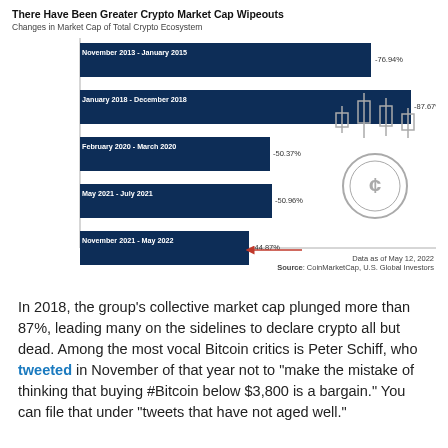[Figure (bar-chart): There Have Been Greater Crypto Market Cap Wipeouts]
Data as of May 12, 2022
Source: CoinMarketCap, U.S. Global Investors
In 2018, the group's collective market cap plunged more than 87%, leading many on the sidelines to declare crypto all but dead. Among the most vocal Bitcoin critics is Peter Schiff, who tweeted in November of that year not to "make the mistake of thinking that buying #Bitcoin below $3,800 is a bargain." You can file that under "tweets that have not aged well."